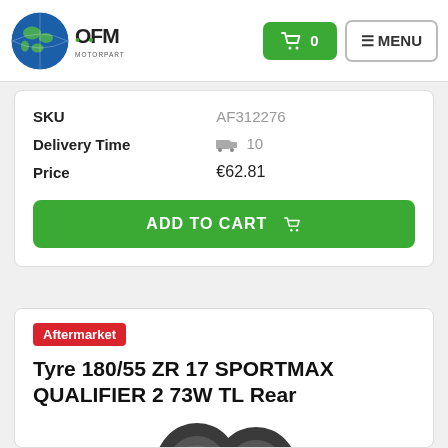[Figure (logo): OFM Motorparts logo with globe graphic]
| SKU | AF312276 |
| Delivery Time | 🚚 10 |
| Price | €62.81 |
ADD TO CART 🛒
Aftermarket
Tyre 180/55 ZR 17 SPORTMAX QUALIFIER 2 73W TL Rear
[Figure (photo): Two motorcycle tyres (Dunlop Sportmax Qualifier 2) shown side by side]